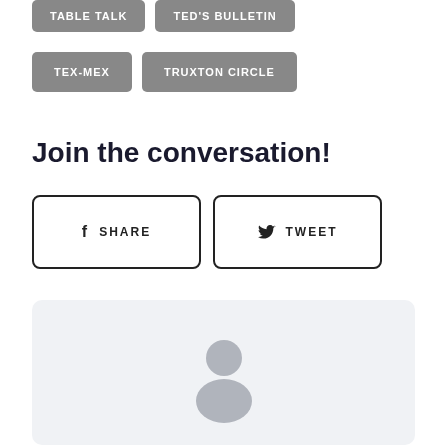TABLE TALK
TED'S BULLETIN
TEX-MEX
TRUXTON CIRCLE
Join the conversation!
SHARE
TWEET
[Figure (illustration): Default user avatar icon — a grey silhouette of a person (head and shoulders) inside a light grey rounded rectangle background.]